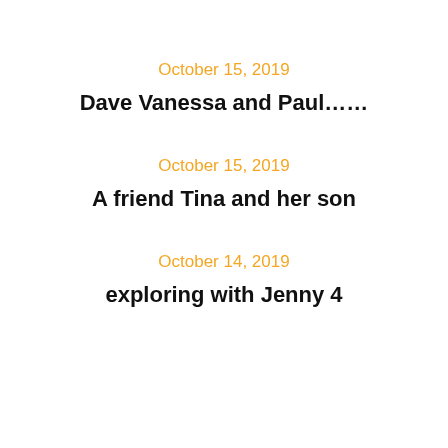October 15, 2019
Dave Vanessa and Paul……
October 15, 2019
A friend Tina and her son
October 14, 2019
exploring with Jenny 4